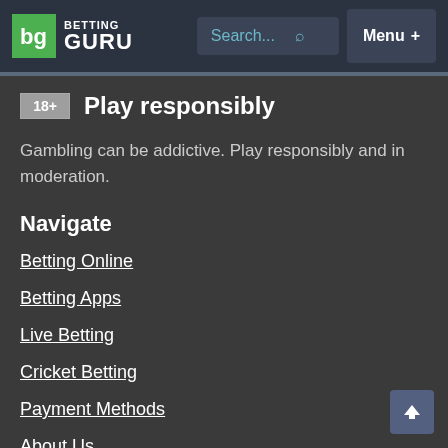BETTING GURU — Search... Menu +
18+ Play responsibly
Gambling can be addictive. Play responsibly and in moderation.
Navigate
Betting Online
Betting Apps
Live Betting
Cricket Betting
Payment Methods
About Us
Contact